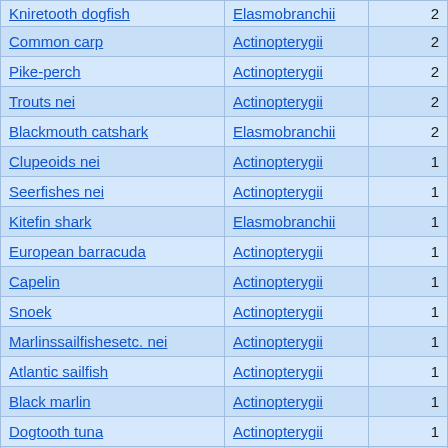| Kniretooth dogfish | Elasmobranchii | 2 |
| Common carp | Actinopterygii | 2 |
| Pike-perch | Actinopterygii | 2 |
| Trouts nei | Actinopterygii | 2 |
| Blackmouth catshark | Elasmobranchii | 2 |
| Clupeoids nei | Actinopterygii | 1 |
| Seerfishes nei | Actinopterygii | 1 |
| Kitefin shark | Elasmobranchii | 1 |
| European barracuda | Actinopterygii | 1 |
| Capelin | Actinopterygii | 1 |
| Snoek | Actinopterygii | 1 |
| Marlinssailfishesetc. nei | Actinopterygii | 1 |
| Atlantic sailfish | Actinopterygii | 1 |
| Black marlin | Actinopterygii | 1 |
| Dogtooth tuna | Actinopterygii | 1 |
| Basking shark | Elasmobranchii | 1 |